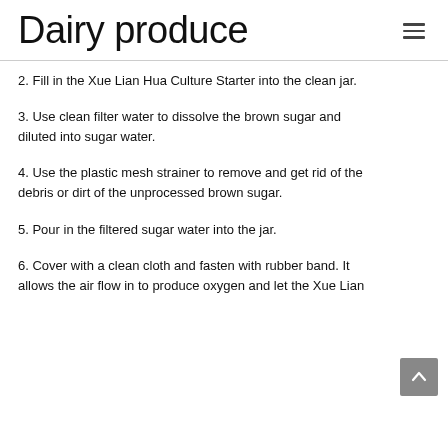Dairy produce
2. Fill in the Xue Lian Hua Culture Starter into the clean jar.
3. Use clean filter water to dissolve the brown sugar and diluted into sugar water.
4. Use the plastic mesh strainer to remove and get rid of the debris or dirt of the unprocessed brown sugar.
5. Pour in the filtered sugar water into the jar.
6. Cover with a clean cloth and fasten with rubber band. It allows the air flow in to produce oxygen and let the Xue Lian...